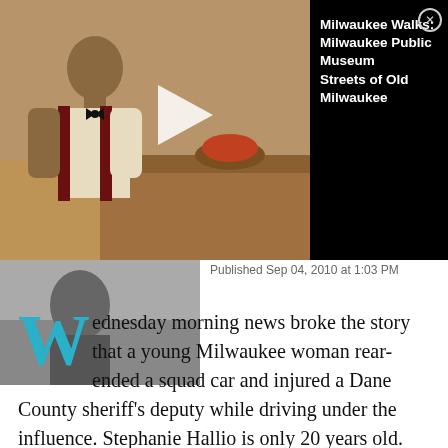[Figure (screenshot): Video thumbnail showing a person in historical costume in a warm-toned room, with a play button overlay. A black panel to the right displays the video title 'Milwaukee Walks: Milwaukee Public Museum Streets of Old Milwaukee' with a close button.]
[Figure (photo): A second smaller black-and-white thumbnail image below the main video thumbnail.]
Published Sep 04, 2010 at 1:03 PM
Wednesday morning news broke the story that a young Milwaukee woman rear-ended a squad car and injured a Dane County sheriff's deputy while driving under the influence. Stephanie Hallio is only 20 years old. She's not even old enough to buy alcohol and this is her second DUI.